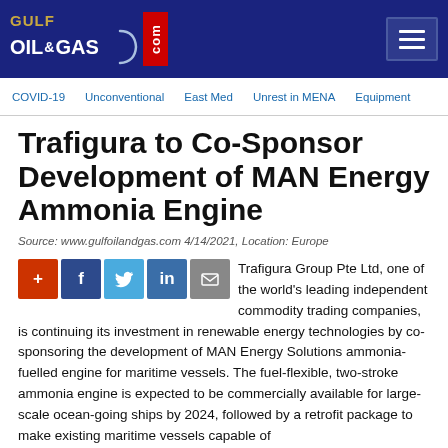GULF OIL & GAS .com
COVID-19 | Unconventional | East Med | Unrest in MENA | Equipment
Trafigura to Co-Sponsor Development of MAN Energy Ammonia Engine
Source: www.gulfoilandgas.com 4/14/2021, Location: Europe
[Figure (infographic): Social sharing icons: plus, Facebook (f), Twitter bird, LinkedIn (in), Email (envelope)]
Trafigura Group Pte Ltd, one of the world's leading independent commodity trading companies, is continuing its investment in renewable energy technologies by co-sponsoring the development of MAN Energy Solutions ammonia-fuelled engine for maritime vessels. The fuel-flexible, two-stroke ammonia engine is expected to be commercially available for large-scale ocean-going ships by 2024, followed by a retrofit package to make existing maritime vessels capable of